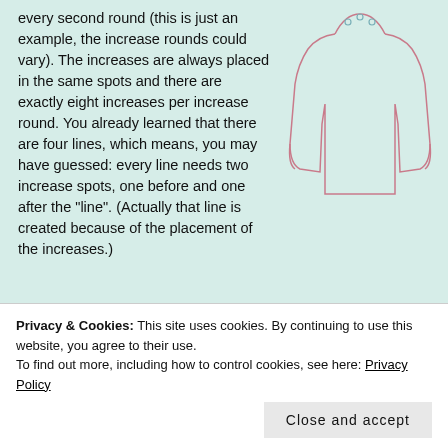every second round (this is just an example, the increase rounds could vary). The increases are always placed in the same spots and there are exactly eight increases per increase round. You already learned that there are four lines, which means, you may have guessed: every line needs two increase spots, one before and one after the “line”. (Actually that line is created because of the placement of the increases.)
[Figure (illustration): Line drawing of a sweater/top garment viewed from front, with raglan-style construction lines shown in pink, and small markers at the shoulder points.]
[Figure (illustration): Line drawing showing the top-down construction of a sweater yoke, depicted as a curved neckline shape in dark pink/red with a small circular motif at center front, and lines extending down representing the body and sleeves.]
The goal here is to increase as many stitches as possible with
Privacy & Cookies: This site uses cookies. By continuing to use this website, you agree to their use.
To find out more, including how to control cookies, see here: Privacy Policy
Close and accept
of your chest